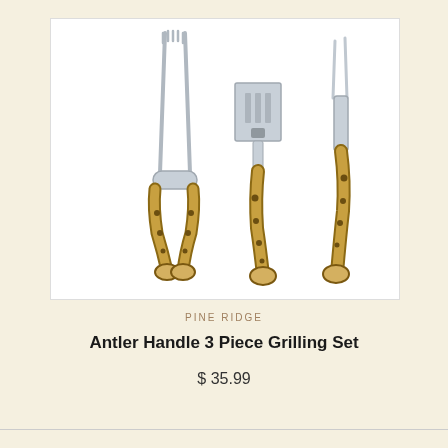[Figure (photo): Three-piece grilling set with antler handles: tongs, spatula, and fork, displayed against a white background]
PINE RIDGE
Antler Handle 3 Piece Grilling Set
$ 35.99